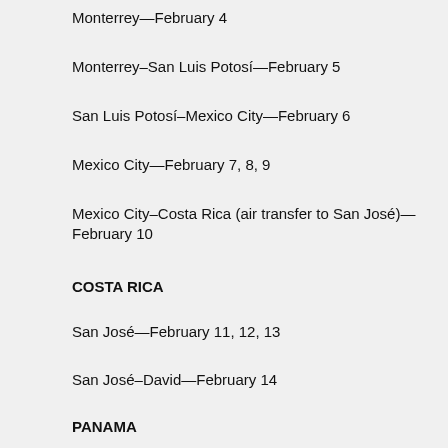Monterrey—February 4
Monterrey–San Luis Potosí—February 5
San Luis Potosí–Mexico City—February 6
Mexico City—February 7, 8, 9
Mexico City–Costa Rica (air transfer to San José)—February 10
COSTA RICA
San José—February 11, 12, 13
San José–David—February 14
PANAMA